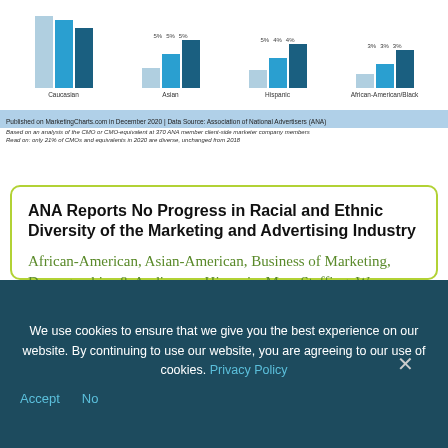[Figure (bar-chart): Racial and Ethnic Diversity - CMO/equivalent]
Published on MarketingCharts.com in December 2020 | Data Source: Association of National Advertisers (ANA)
Based on an analysis of the CMO or CMO-equivalent at 370 ANA member client-side marketer company members
Read on: only 21% of CMOs and equivalents in 2020 are diverse, unchanged from 2018
ANA Reports No Progress in Racial and Ethnic Diversity of the Marketing and Advertising Industry
African-American, Asian-American, Business of Marketing, Demographics & Audiences, Hispanic, Men, Staffing, Women
We use cookies to ensure that we give you the best experience on our website. By continuing to use our website, you are agreeing to our use of cookies. Privacy Policy
Accept  No